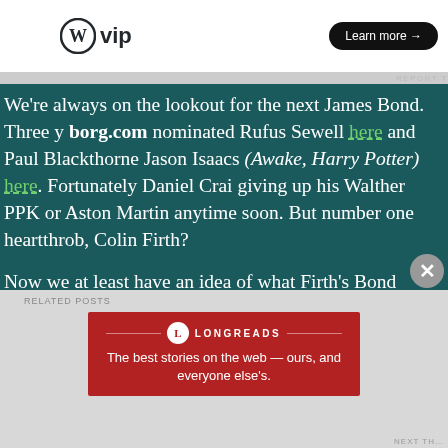[Figure (screenshot): WordPress VIP advertisement banner with 'Learn more →' button on white background]
REPORT T
We're always on the lookout for the next James Bond.  Three y borg.com nominated Rufus Sewell here and Paul Blackthorne Jason Isaacs (Awake, Harry Potter) here.  Fortunately Daniel Crai giving up his Walther PPK or Aston Martin anytime soon.  But number one heartthrob, Colin Firth?

Now we at least have an idea of what Firth's Bond might look l the 2016 release Kingsman: The Secret Service this week.  Admitt trailer was for a remake of the classic British spy series The Av Steed.  Ralph Fiennes, the newest M in the James Bond franchi the famous bowler hat and umbrella for that role.  Firth would for that role, but he also seems to be summoning a little foppis original Casino Royale, too.
Related posts
[Figure (logo): Longreads advertisement banner — red background with Longreads logo and tagline 'The best stories on the web — ours, and everyone else's.']